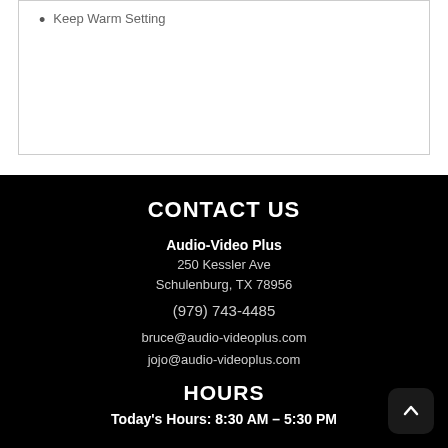Keep Warm Setting
CONTACT US
Audio-Video Plus
250 Kessler Ave
Schulenburg, TX 78956
(979) 743-4485
bruce@audio-videoplus.com
jojo@audio-videoplus.com
HOURS
Today's Hours: 8:30 AM – 5:30 PM